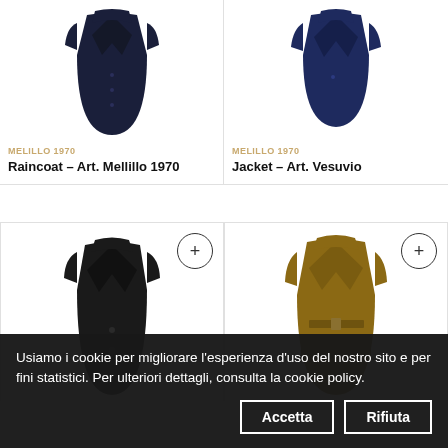[Figure (photo): Dark navy raincoat/overcoat product photo on white background]
MELILLO 1970
Raincoat – Art. Mellillo 1970
[Figure (photo): Navy blue suit jacket product photo on white background]
MELILLO 1970
Jacket – Art. Vesuvio
[Figure (photo): Black blazer/jacket product photo on white background]
[Figure (photo): Brown/camel belted coat product photo on white background]
Usiamo i cookie per migliorare l'esperienza d'uso del nostro sito e per fini statistici. Per ulteriori dettagli, consulta la cookie policy.
Accetta
Rifiuta